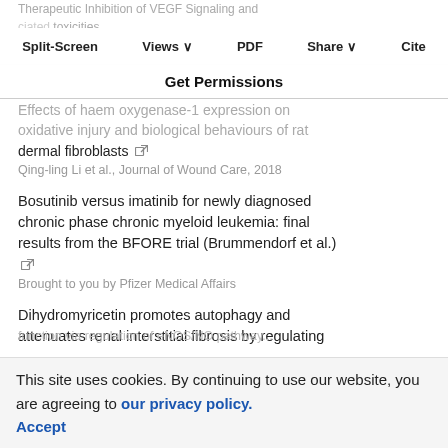Therapeutic Inhibition of VEGF Signaling and associated toxicities
Split-Screen   Views   PDF   Share   Cite
Get Permissions
Effects of haem oxygenase-1 expression on oxidative injury and biological behaviours of rat dermal fibroblasts [external link]
Qing-ling Li et al., Journal of Wound Care, 2018
Bosutinib versus imatinib for newly diagnosed chronic phase chronic myeloid leukemia: final results from the BFORE trial (Brummendorf et al.) [external link]
Brought to you by Pfizer Medical Affairs
Dihydromyricetin promotes autophagy and attenuates renal interstitial fibrosis by regulating miR-155-5p/PTEN signaling in diabetic nephropathy [external link]
Liming Guo et al., BJBMS, 2019
This site uses cookies. By continuing to use our website, you are agreeing to our privacy policy. Accept